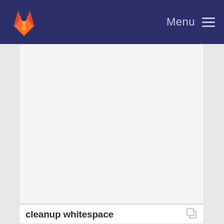GitLab — Menu
[Figure (other): Large empty white/light gray content panel area]
cleanup whitespace